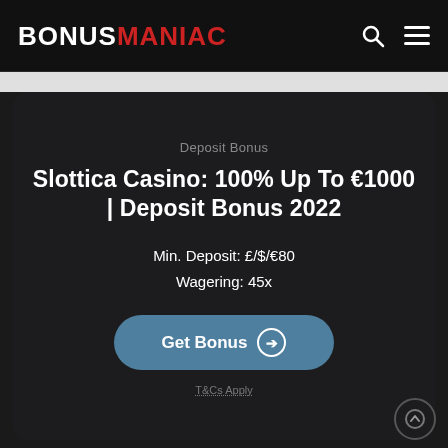BonusManiac — navigation header with search and menu icons
Deposit Bonus
Slottica Casino: 100% Up To €1000 | Deposit Bonus 2022
Min. Deposit: £/$/€80
Wagering: 45x
Get Bonus →
T&Cs Apply